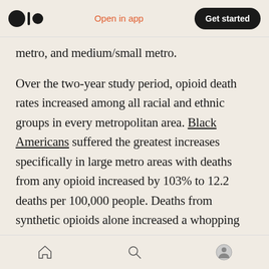Open in app | Get started
metro, and medium/small metro.
Over the two-year study period, opioid death rates increased among all racial and ethnic groups in every metropolitan area. Black Americans suffered the greatest increases specifically in large metro areas with deaths from any opioid increased by 103% to 12.2 deaths per 100,000 people. Deaths from synthetic opioids alone increased a whopping 361% to 13 deaths per 100,000 people.
Since 2013, synthetic opioids, particularly illicitly
Home | Search | Profile